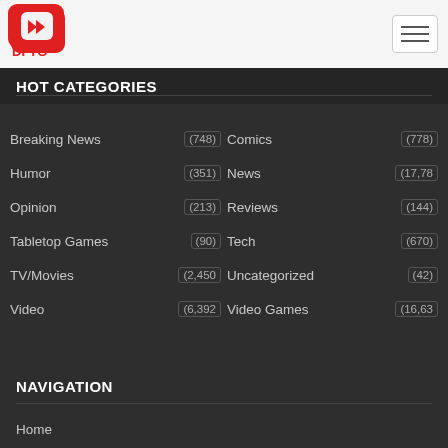[Figure (logo): DFTG logo — red D-shape with play arrows and red DFTG text below]
HOT CATEGORIES
Breaking News (748)
Comics (778)
Humor (351)
News (17,78
Opinion (213)
Reviews (144)
Tabletop Games (90)
Tech (670)
TV/Movies (2,450
Uncategorized (42)
Video (6,392
Video Games (16,63
NAVIGATION
Home